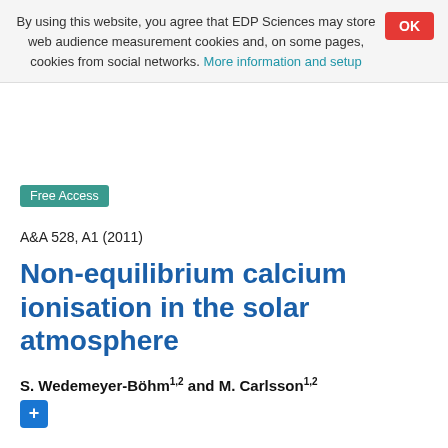By using this website, you agree that EDP Sciences may store web audience measurement cookies and, on some pages, cookies from social networks. More information and setup
OK
Free Access
A&A 528, A1 (2011)
Non-equilibrium calcium ionisation in the solar atmosphere
S. Wedemeyer-Böhm1,2 and M. Carlsson1,2
+
Received: 23 November 2010
Accepted: 10 January 2011
Abstract
Context. The chromosphere of the Sun is a temporally